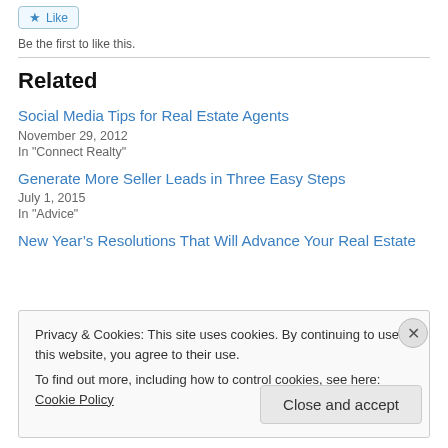[Figure (other): Like button with star icon]
Be the first to like this.
Related
Social Media Tips for Real Estate Agents
November 29, 2012
In "Connect Realty"
Generate More Seller Leads in Three Easy Steps
July 1, 2015
In "Advice"
New Year’s Resolutions That Will Advance Your Real Estate
Privacy & Cookies: This site uses cookies. By continuing to use this website, you agree to their use.
To find out more, including how to control cookies, see here: Cookie Policy
Close and accept